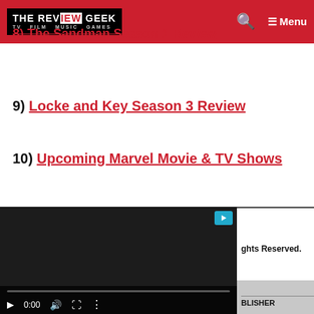THE REVIEW GEEK — TV FILM MUSIC GAMES
8) The Sandman Season 1 Review
9) Locke and Key Season 3 Review
10) Upcoming Marvel Movie & TV Shows
Privacy Policy
[Figure (screenshot): Embedded video player overlay with dark background, play button, 0:00 timestamp, volume, fullscreen, and options controls with a progress bar at bottom. A teal badge with play icon appears in top right corner.]
ghts Reserved.
BLISHER